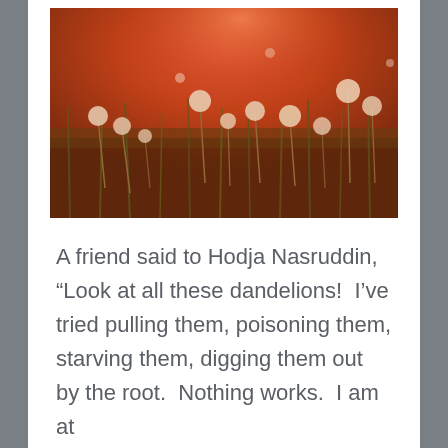[Figure (photo): A field of dandelions with white seed heads on tall stems, photographed in warm golden-red sunset light with grass in the background.]
A friend said to Hodja Nasruddin, “Look at all these dandelions!  I’ve tried pulling them, poisoning them, starving them, digging them out by the root.  Nothing works.  I am at